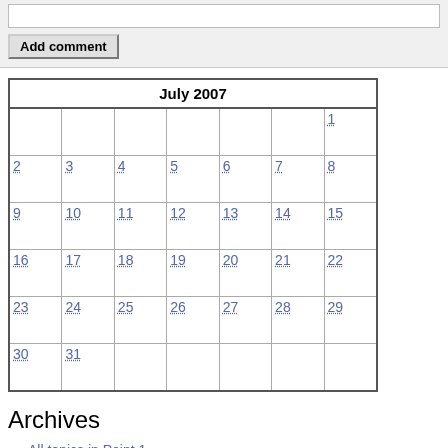[Figure (other): Add comment form area with text input box and 'Add comment' button]
| July 2007 |
| --- |
|  |  |  |  |  |  | 1 |
| 2 | 3 | 4 | 5 | 6 | 7 | 8 |
| 9 | 10 | 11 | 12 | 13 | 14 | 15 |
| 16 | 17 | 18 | 19 | 20 | 21 | 22 |
| 23 | 24 | 25 | 26 | 27 | 28 | 29 |
| 30 | 31 |  |  |  |  |  |
Archives
All topics in Point 1
archive June 2007
archive May 2007
archive April 2007
archive March 2007
archive February 2007
archive January 2007